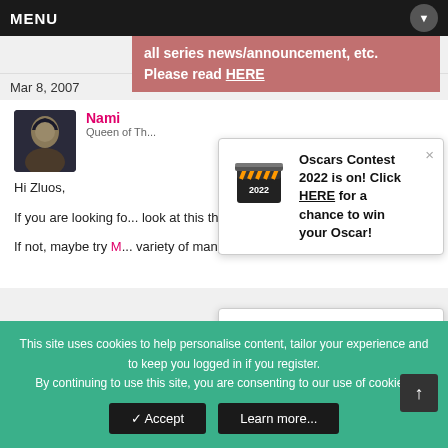MENU
all series news/announcement, etc. Please read HERE
Mar 8, 2007
Nami
Queen of Th...
Hi Zluos,
If you are looking fo... look at this thread s...
If not, maybe try M... variety of mangas,
[Figure (infographic): Oscars Contest 2022 popup with clapperboard icon. Text: Oscars Contest 2022 is on! Click HERE for a chance to win your Oscar!]
[Figure (infographic): MH Awards 2022 popup with star/laurel icon. Text: It's back! MH presents a celebration of manga/anime culture; Mangahelpers Awards 2022 is NOW LIVE!]
This site uses cookies to help personalise content, tailor your experience and to keep you logged in if you register. By continuing to use this site, you are consenting to our use of cookies.